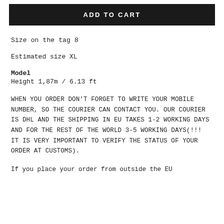ADD TO CART
Size on the tag 8
Estimated size XL
Model
Height 1,87m / 6.13 ft
WHEN YOU ORDER DON'T FORGET TO WRITE YOUR MOBILE NUMBER, SO THE COURIER CAN CONTACT YOU. OUR COURIER IS DHL AND THE SHIPPING IN EU TAKES 1-2 WORKING DAYS AND FOR THE REST OF THE WORLD 3-5 WORKING DAYS(!!! IT IS VERY IMPORTANT TO VERIFY THE STATUS OF YOUR ORDER AT CUSTOMS).
If you place your order from outside the EU